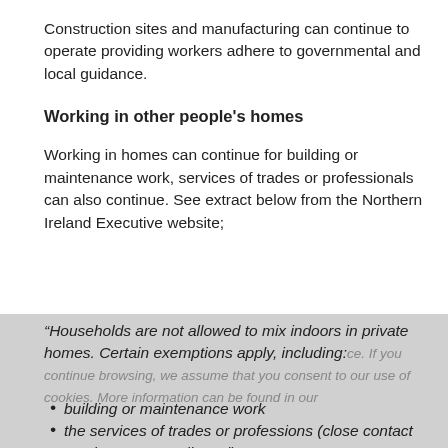Construction sites and manufacturing can continue to operate providing workers adhere to governmental and local guidance.
Working in other people's homes
Working in homes can continue for building or maintenance work, services of trades or professionals can also continue. See extract below from the Northern Ireland Executive website;
“Households are not allowed to mix indoors in private homes. Certain exemptions apply, including:
building or maintenance work
the services of trades or professions (close contact services are not allowed)”